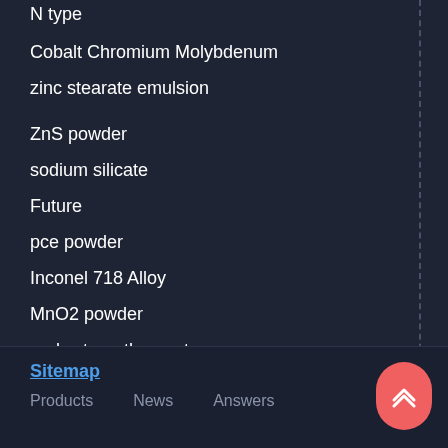N type
Cobalt Chromium Molybdenum
zinc stearate emulsion
ZnS powder
sodium silicate
Future
pce powder
Inconel 718 Alloy
MnO2 powder
early strength agent
Sitemap
Products   News   Answers